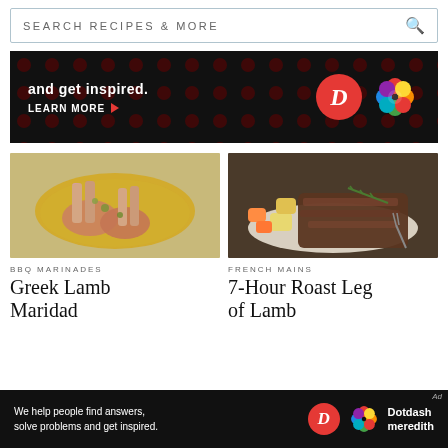SEARCH RECIPES & MORE
[Figure (screenshot): Advertisement banner: dark background with red dot pattern, 'and get inspired.' text, LEARN MORE button with red arrow, D logo in red circle, and colorful Dotdash Meredith flower logo]
[Figure (photo): Lamb chops marinating in olive oil with herbs in a white bowl]
BBQ MARINADES
Greek Lamb Marinade
[Figure (photo): Slow roasted leg of lamb with vegetables including carrots and potatoes on a plate]
FRENCH MAINS
7-Hour Roast Leg of Lamb
[Figure (screenshot): Bottom ad: 'We help people find answers, solve problems and get inspired.' with D logo and Dotdash Meredith branding]